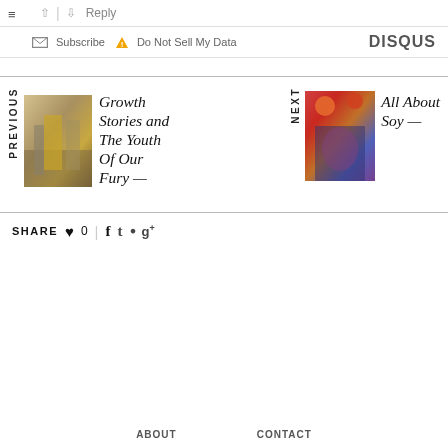↑ | ↓ Reply
☰
✉ Subscribe ⚠ Do Not Sell My Data   DISQUS
[Figure (photo): Street scene with people walking, woman in yellow dress]
PREVIOUS
Growth Stories and The Youth Of Our Fury —
[Figure (photo): Concert scene with performer on stage, colorful balloons]
NEXT
All About Soy —
SHARE ♥ 0 | f t p g+
ABOUT   CONTACT